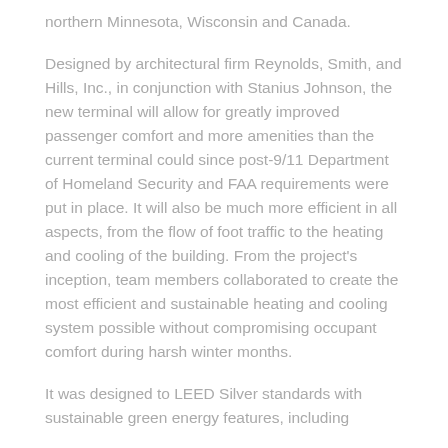northern Minnesota, Wisconsin and Canada.
Designed by architectural firm Reynolds, Smith, and Hills, Inc., in conjunction with Stanius Johnson, the new terminal will allow for greatly improved passenger comfort and more amenities than the current terminal could since post-9/11 Department of Homeland Security and FAA requirements were put in place. It will also be much more efficient in all aspects, from the flow of foot traffic to the heating and cooling of the building. From the project's inception, team members collaborated to create the most efficient and sustainable heating and cooling system possible without compromising occupant comfort during harsh winter months.
It was designed to LEED Silver standards with sustainable green energy features, including geothermal heating, geothermal lighting, and high-efficiency...